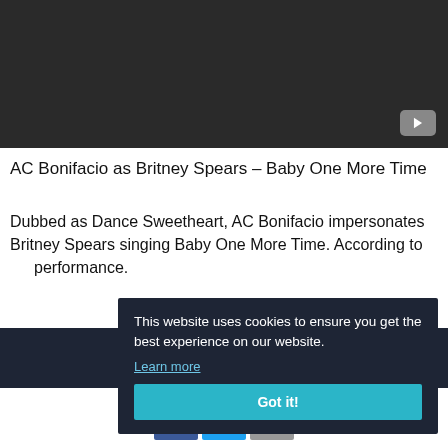[Figure (screenshot): Dark video player area with YouTube play button in bottom right corner]
AC Bonifacio as Britney Spears – Baby One More Time
Dubbed as Dance Sweetheart, AC Bonifacio impersonates Britney Spears singing Baby One More Time. According to performance.
This website uses cookies to ensure you get the best experience on our website. Learn more Got it!
[Figure (infographic): Social sharing buttons: Facebook, Twitter, Email]